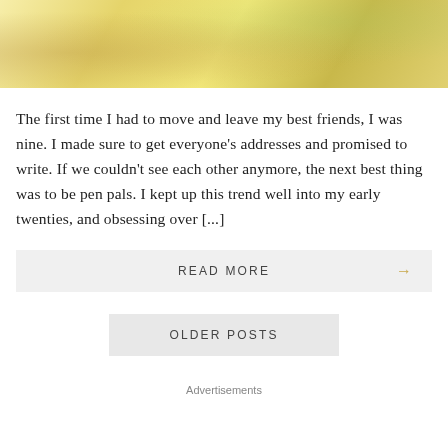[Figure (photo): Decorative image showing notebooks, letters, and floral illustrations with a warm yellow/cream color palette]
The first time I had to move and leave my best friends, I was nine. I made sure to get everyone's addresses and promised to write. If we couldn't see each other anymore, the next best thing was to be pen pals. I kept up this trend well into my early twenties, and obsessing over [...]
READ MORE →
OLDER POSTS
Advertisements